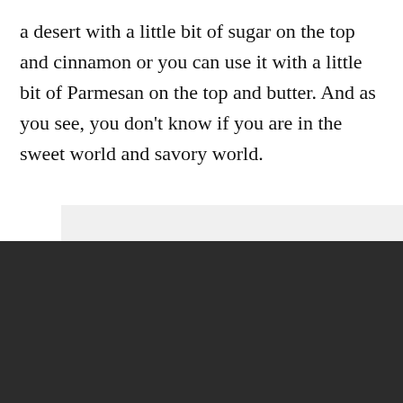a desert with a little bit of sugar on the top and cinnamon or you can use it with a little bit of Parmesan on the top and butter. And as you see, you don't know if you are in the sweet world and savory world.
[Figure (screenshot): Cookie consent overlay with dark background, green Accept All Cookies button, and underlined Cookies Settings link]